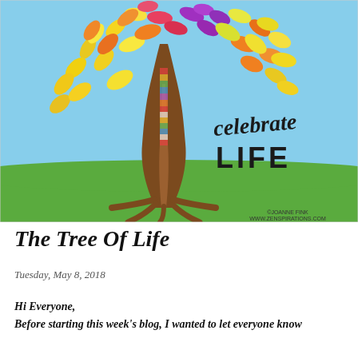[Figure (illustration): Colorful illustrated tree with multicolored leaves (yellow, orange, pink, purple) on a blue sky and green grass background, with decorative text 'celebrate LIFE' on the right side. Credit: Joanne Fink, www.zenspirations.com]
The Tree Of Life
Tuesday, May 8, 2018
Hi Everyone,
Before starting this week's blog, I wanted to let everyone know